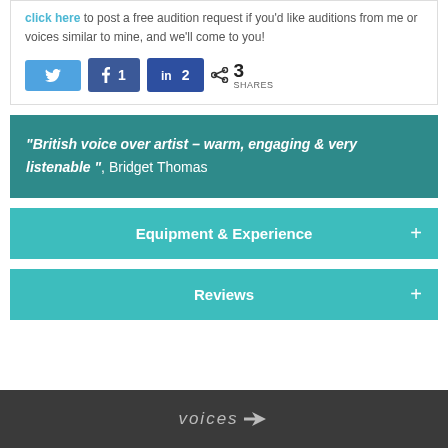click here to post a free audition request if you'd like auditions from me or voices similar to mine, and we'll come to you!
[Figure (infographic): Social share buttons: Twitter (no count), Facebook (1 share), LinkedIn (2 shares), share icon with 3 SHARES total]
“British voice over artist – warm, engaging & very listenable ”, Bridget Thomas
Equipment & Experience
Reviews
voices (logo)